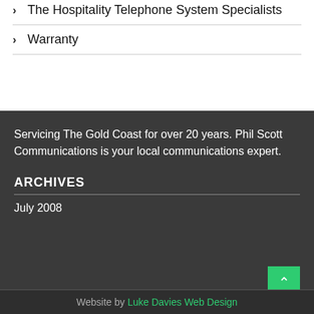The Hospitality Telephone System Specialists
Warranty
Servicing The Gold Coast for over 20 years. Phil Scott Communications is your local communications expert.
ARCHIVES
July 2008
Website by Luke Davies Web Design